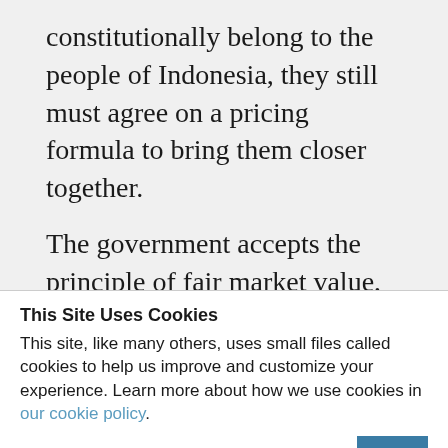constitutionally belong to the people of Indonesia, they still must agree on a pricing formula to bring them closer together.
The government accepts the principle of fair market value, but has so far rejected Freeport's suggestion of a 10% float of PTFI on the Jakarta Stock Exchange as a
This Site Uses Cookies
This site, like many others, uses small files called cookies to help us improve and customize your experience. Learn more about how we use cookies in our cookie policy.
Learn more about cookies
OK